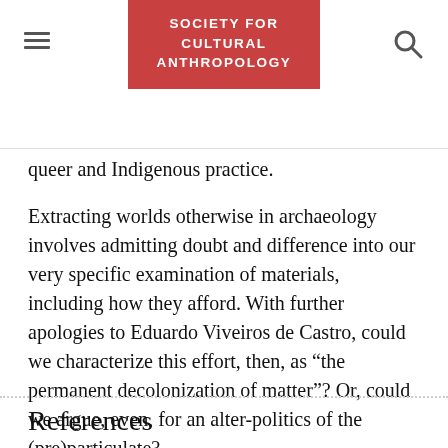SOCIETY FOR CULTURAL ANTHROPOLOGY
queer and Indigenous practice.
Extracting worlds otherwise in archaeology involves admitting doubt and difference into our very specific examination of materials, including how they afford. With further apologies to Eduardo Viveiros de Castro, could we characterize this effort, then, as “the permanent decolonization of matter”? Or, could we argue, even, for an alter-politics of the (pre)particulate?
References